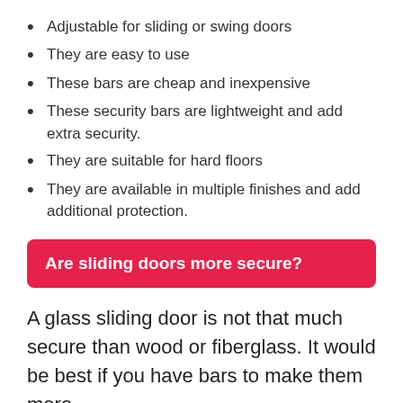Adjustable for sliding or swing doors
They are easy to use
These bars are cheap and inexpensive
These security bars are lightweight and add extra security.
They are suitable for hard floors
They are available in multiple finishes and add additional protection.
Are sliding doors more secure?
A glass sliding door is not that much secure than wood or fiberglass. It would be best if you have bars to make them more